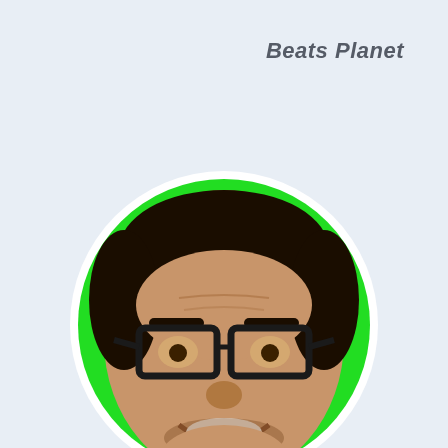Beats Planet
[Figure (photo): Circular profile photo of a smiling man with glasses and a beard, against a bright green background, with a white circular border]